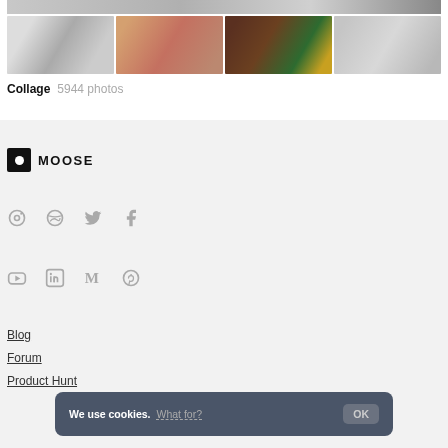[Figure (photo): Photo collage thumbnails: cat with chicken, man in red shirt, couple hugging near Christmas tree, elderly couple]
Collage   5944 photos
[Figure (logo): Moose logo: black square with white circle dot and text MOOSE]
[Figure (infographic): Social media icons row 1: Instagram, Dribbble, Twitter, Facebook]
[Figure (infographic): Social media icons row 2: YouTube, LinkedIn, Medium, Pinterest]
Blog
Forum
Product Hunt
We use cookies.   What for?   OK